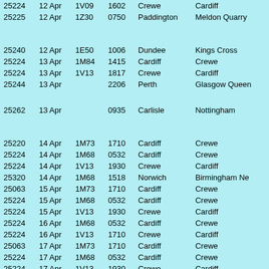| Loco | Date | Headcode | Time | From | To |
| --- | --- | --- | --- | --- | --- |
| 25224 | 12 Apr | 1V09 | 1602 | Crewe | Cardiff |
| 25225 | 12 Apr | 1Z30 | 0750 | Paddington | Meldon Quarry |
|  |  |  |  |  |  |
| 25240 | 12 Apr | 1E50 | 1006 | Dundee | Kings Cross |
| 25224 | 13 Apr | 1M84 | 1415 | Cardiff | Crewe |
| 25224 | 13 Apr | 1V13 | 1817 | Crewe | Cardiff |
| 25244 | 13 Apr |  | 2206 | Perth | Glasgow Queen |
|  |  |  |  |  |  |
| 25262 | 13 Apr |  | 0935 | Carlisle | Nottingham |
|  |  |  |  |  |  |
| 25220 | 14 Apr | 1M73 | 1710 | Cardiff | Crewe |
| 25224 | 14 Apr | 1M68 | 0532 | Cardiff | Crewe |
| 25224 | 14 Apr | 1V13 | 1930 | Crewe | Cardiff |
| 25320 | 14 Apr | 1M68 | 1518 | Norwich | Birmingham New Street |
| 25063 | 15 Apr | 1M73 | 1710 | Cardiff | Crewe |
| 25224 | 15 Apr | 1M68 | 0532 | Cardiff | Crewe |
| 25224 | 15 Apr | 1V13 | 1930 | Crewe | Cardiff |
| 25224 | 16 Apr | 1M68 | 0532 | Cardiff | Crewe |
| 25224 | 16 Apr | 1V13 | 1710 | Crewe | Cardiff |
| 25063 | 17 Apr | 1M73 | 1710 | Cardiff | Crewe |
| 25224 | 17 Apr | 1M68 | 0532 | Cardiff | Crewe |
| 25224 | 17 Apr | 1V13 | 1930 | Crewe | Cardiff |
| 25307 | 17 Apr | 1A52 | 1246 | Holyhead | Euston |